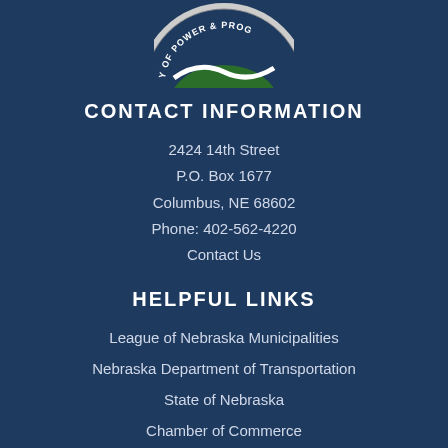[Figure (logo): Partial city seal/logo showing 'OF POWER & PROG...' text around a circular emblem with green and white design]
CONTACT INFORMATION
2424 14th Street
P.O. Box 1677
Columbus, NE 68602
Phone: 402-562-4220
Contact Us
HELPFUL LINKS
League of Nebraska Municipalities
Nebraska Department of Transportation
State of Nebraska
Chamber of Commerce